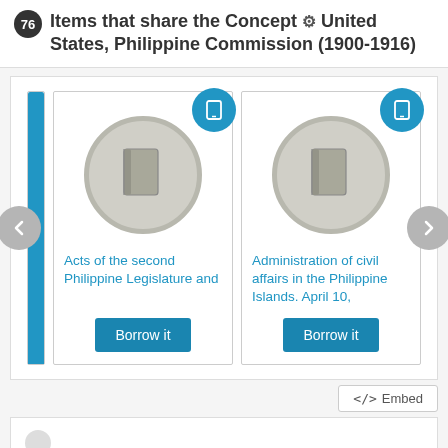76 Items that share the Concept ⚙ United States, Philippine Commission (1900-1916)
[Figure (screenshot): Carousel of book items with two full cards and one partial. Left navigation arrow (back). Card 1: tablet icon badge, book icon, title 'Acts of the second Philippine Legislature and', Borrow it button. Card 2: tablet icon badge, book icon, title 'Administration of civil affairs in the Philippine Islands. April 10,', Borrow it button. Right navigation arrow (forward).]
</> Embed
[Figure (screenshot): Bottom partial panel, white background, partially visible.]